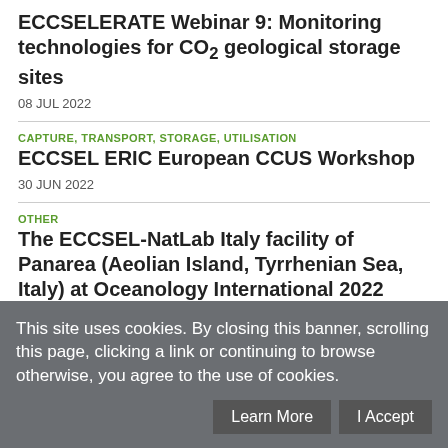ECCSELERATE Webinar 9: Monitoring technologies for CO2 geological storage sites
08 JUL 2022
CAPTURE, TRANSPORT, STORAGE, UTILISATION
ECCSEL ERIC European CCUS Workshop
30 JUN 2022
OTHER
The ECCSEL-NatLab Italy facility of Panarea (Aeolian Island, Tyrrhenian Sea, Italy) at Oceanology International 2022
This site uses cookies. By closing this banner, scrolling this page, clicking a link or continuing to browse otherwise, you agree to the use of cookies.